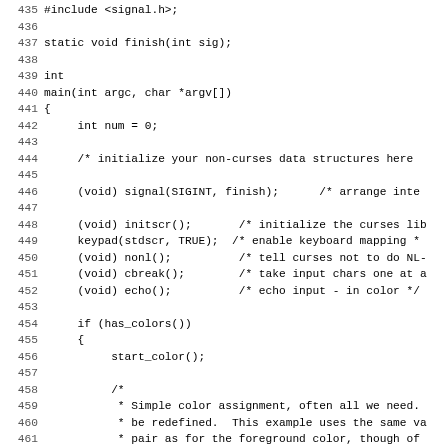Source code listing, lines 435-467, showing C code with curses library initialization including function declarations, signal setup, initscr, keypad, nonl, cbreak, echo, color initialization with init_pair calls.